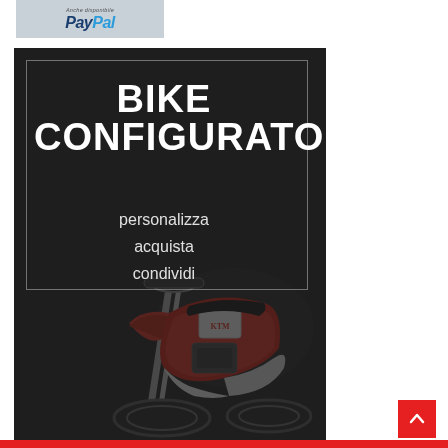[Figure (logo): PayPal logo banner with light gray background showing italic PayPal text in blue tones]
[Figure (illustration): Bike Configurator promotional banner with dark background showing a red dirt bike (KTM style). Large bold white text reads BIKE CONFIGURATOR, below in lighter text: personalizza, acquista, condividi. Inner decorative border frame surrounds the text area.]
[Figure (other): Red back-to-top arrow button in bottom right corner]
[Figure (other): Red footer bar at bottom of page]